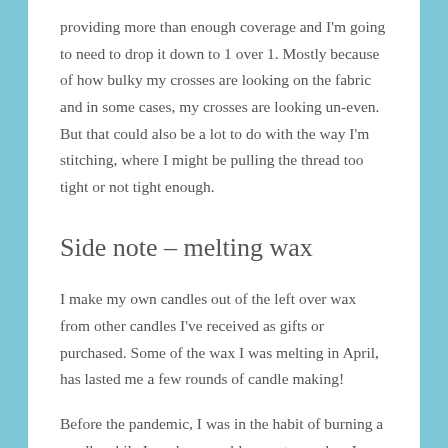providing more than enough coverage and I'm going to need to drop it down to 1 over 1. Mostly because of how bulky my crosses are looking on the fabric and in some cases, my crosses are looking un-even. But that could also be a lot to do with the way I'm stitching, where I might be pulling the thread too tight or not tight enough.
Side note – melting wax
I make my own candles out of the left over wax from other candles I've received as gifts or purchased. Some of the wax I was melting in April, has lasted me a few rounds of candle making!
Before the pandemic, I was in the habit of burning a candle while I work on my blog posts or when I was